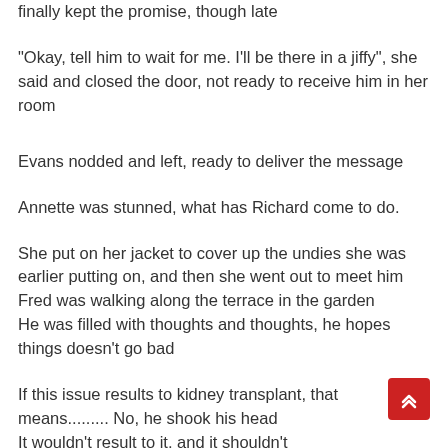finally kept the promise, though late
"Okay, tell him to wait for me. I'll be there in a jiffy", she said and closed the door, not ready to receive him in her room
Evans nodded and left, ready to deliver the message
Annette was stunned, what has Richard come to do.
She put on her jacket to cover up the undies she was earlier putting on, and then she went out to meet him
Fred was walking along the terrace in the garden
He was filled with thoughts and thoughts, he hopes things doesn't go bad
If this issue results to kidney transplant, that means......... No, he shook his head
It wouldn't result to it, and it shouldn't
It's been two weeks since they returned from the hospital where